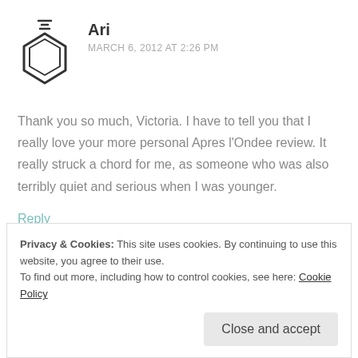[Figure (logo): Benzene ring / chemistry flask icon used as comment avatar]
Ari
MARCH 6, 2012 AT 2:26 PM
Thank you so much, Victoria. I have to tell you that I really love your more personal Apres l'Ondee review. It really struck a chord for me, as someone who was also terribly quiet and serious when I was younger.
Reply
Leave a Reply to Ari
Cancel reply
Privacy & Cookies: This site uses cookies. By continuing to use this website, you agree to their use.
To find out more, including how to control cookies, see here: Cookie Policy
Close and accept
COMMENT